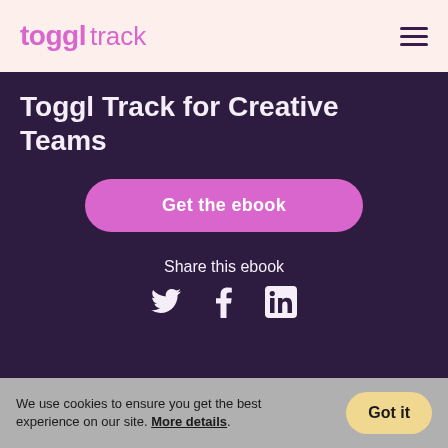toggl track
Toggl Track for Creative Teams
Get the ebook
Share this ebook
[Figure (illustration): Social share icons: Twitter bird, Facebook f, LinkedIn in]
Do you ever feel like creative teams and time-tracking just don't mix?
We use cookies to ensure you get the best experience on our site. More details.
Got it